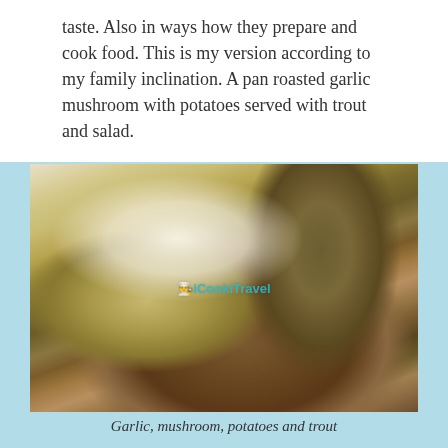taste. Also in ways how they prepare and cook food. This is my version according to my family inclination. A pan roasted garlic mushroom with potatoes served with trout and salad.
[Figure (photo): A plate of food showing pan roasted garlic mushrooms with potatoes, trout fillet, white rice, and salad on a white plate. Watermark reads iCookiTravel.]
Garlic, mushroom, potatoes and trout